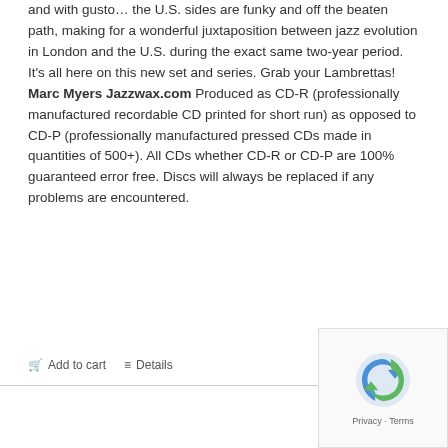and with gusto… the U.S. sides are funky and off the beaten path, making for a wonderful juxtaposition between jazz evolution in London and the U.S. during the exact same two-year period. It's all here on this new set and series. Grab your Lambrettas! Marc Myers Jazzwax.com Produced as CD-R (professionally manufactured recordable CD printed for short run) as opposed to CD-P (professionally manufactured pressed CDs made in quantities of 500+). All CDs whether CD-R or CD-P are 100% guaranteed error free. Discs will always be replaced if any problems are encountered.
Add to cart   Details